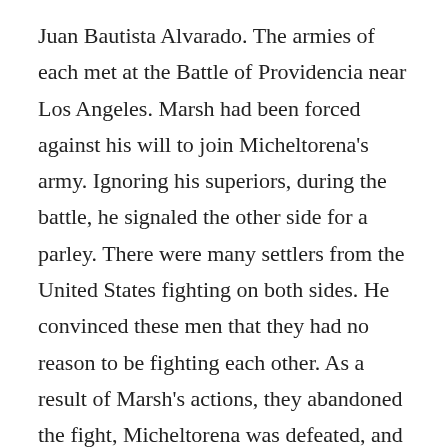Juan Bautista Alvarado. The armies of each met at the Battle of Providencia near Los Angeles. Marsh had been forced against his will to join Micheltorena's army. Ignoring his superiors, during the battle, he signaled the other side for a parley. There were many settlers from the United States fighting on both sides. He convinced these men that they had no reason to be fighting each other. As a result of Marsh's actions, they abandoned the fight, Micheltorena was defeated, and California-born Pio Pico was returned to the governorship. This paved the way to California's ultimate acquisition by the United States. In 1846, a group of American settlers in and